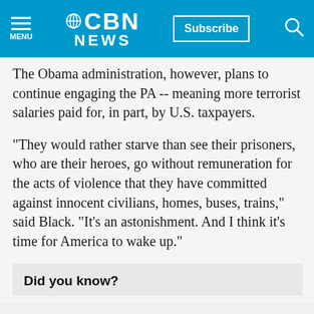CBN NEWS
The Obama administration, however, plans to continue engaging the PA  -- meaning more terrorist salaries paid for, in part, by U.S. taxpayers.
"They would rather starve than see their prisoners, who are their heroes, go without remuneration for the acts of violence that they have committed against innocent civilians, homes, buses, trains," said Black. "It's an astonishment. And I think it's time for America to wake up."
Did you know?